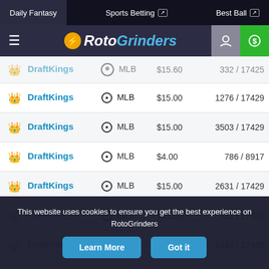Daily Fantasy | Sports Betting | Best Ball
[Figure (logo): RotoGrinders logo with hamburger menu, user icon, and dollar sign icon]
| Site | Sport | Entry Fee | Rank / Entries |
| --- | --- | --- | --- |
| DraftKings | MLB | $15.00 | 332 / 17425 |
| DraftKings | MLB | $15.00 | 1276 / 17429 |
| DraftKings | MLB | $15.00 | 3503 / 17429 |
| DraftKings | MLB | $4.00 | 786 / 8917 |
| DraftKings | MLB | $15.00 | 2631 / 17429 |
| DraftKings | MLB | $15.00 | 461 / 17429 |
| DraftKings | MLB | $15.00 | 1434 / 17429 |
This website uses cookies to ensure you get the best experience on RotoGrinders
Learn More  Got it